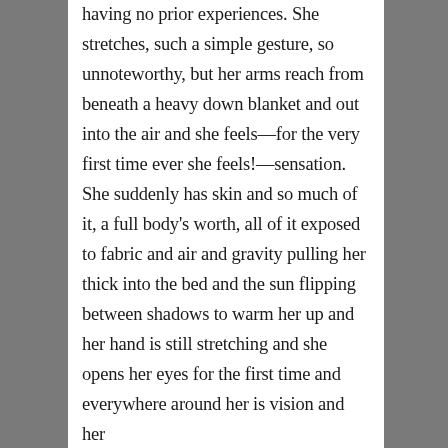having no prior experiences. She stretches, such a simple gesture, so unnoteworthy, but her arms reach from beneath a heavy down blanket and out into the air and she feels—for the very first time ever she feels!—sensation. She suddenly has skin and so much of it, a full body's worth, all of it exposed to fabric and air and gravity pulling her thick into the bed and the sun flipping between shadows to warm her up and her hand is still stretching and she opens her eyes for the first time and everywhere around her is vision and her